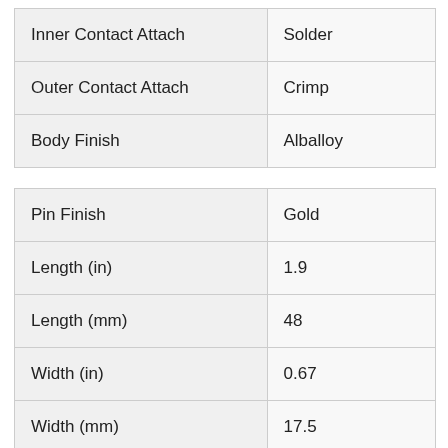| Property | Value |
| --- | --- |
| Inner Contact Attach | Solder |
| Outer Contact Attach | Crimp |
| Body Finish | Alballoy |
| Property | Value |
| --- | --- |
| Pin Finish | Gold |
| Length (in) | 1.9 |
| Length (mm) | 48 |
| Width (in) | 0.67 |
| Width (mm) | 17.5 |